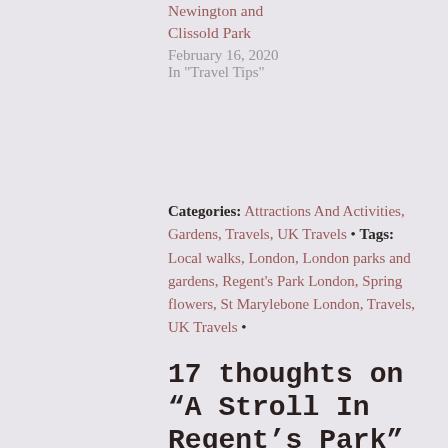Newington and Clissold Park
February 16, 2020
In "Travel Tips"
Categories: Attractions And Activities, Gardens, Travels, UK Travels • Tags: Local walks, London, London parks and gardens, Regent's Park London, Spring flowers, St Marylebone London, Travels, UK Travels •
17 thoughts on “A Stroll In Regent’s Park”